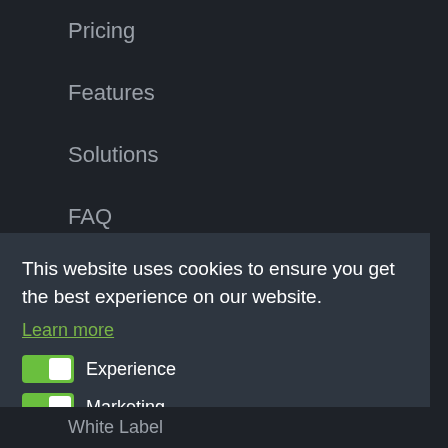Pricing
Features
Solutions
FAQ
This website uses cookies to ensure you get the best experience on our website.
Learn more
Experience
Marketing
Save Settings
Allow
White Label